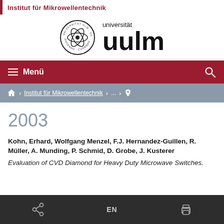Institut für Mikrowellentechnik
[Figure (logo): Universität Ulm circular seal logo with atom graphic and 'uulm' wordmark]
Menü
Institut für Mikrowellentechnik > ... > location
2003
Kohn, Erhard, Wolfgang Menzel, F.J. Hernandez-Guillen, R. Müller, A. Munding, P. Schmid, D. Grobe, J. Kusterer
Evaluation of CVD Diamond for Heavy Duty Microwave Switches.
EN